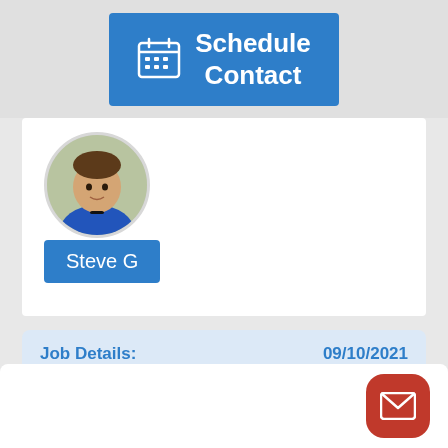[Figure (screenshot): Schedule Contact button with calendar icon on blue background]
[Figure (photo): Profile photo of Steve G in circular crop]
Steve G
Job Details:  09/10/2021
Install new icemaker cycle
We serviced a